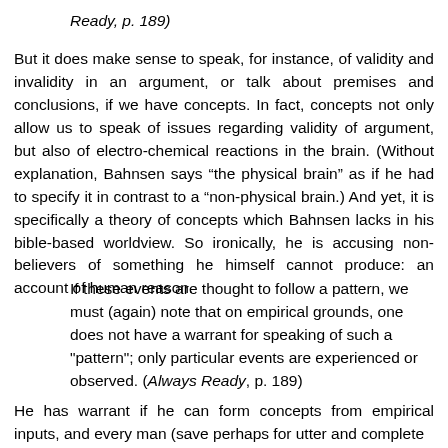Ready, p. 189)
But it does make sense to speak, for instance, of validity and invalidity in an argument, or talk about premises and conclusions, if we have concepts. In fact, concepts not only allow us to speak of issues regarding validity of argument, but also of electro-chemical reactions in the brain. (Without explanation, Bahnsen says “the physical brain” as if he had to specify it in contrast to a “non-physical brain.) And yet, it is specifically a theory of concepts which Bahnsen lacks in his bible-based worldview. So ironically, he is accusing non-believers of something he himself cannot produce: an account of human reason.
If these events are thought to follow a pattern, we must (again) note that on empirical grounds, one does not have a warrant for speaking of such a "pattern"; only particular events are experienced or observed. (Always Ready, p. 189)
He has warrant if he can form concepts from empirical inputs, and every man (save perhaps for utter and complete